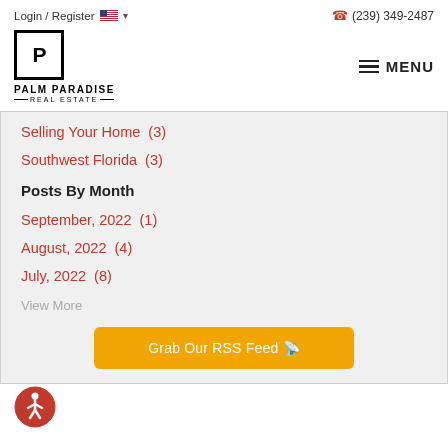Login / Register  (239) 349-2487
[Figure (logo): Palm Paradise Real Estate logo with P icon in a square border]
Selling Your Home  (3)
Southwest Florida  (3)
Posts By Month
September, 2022  (1)
August, 2022  (4)
July, 2022  (8)
View More
Grab Our RSS Feed